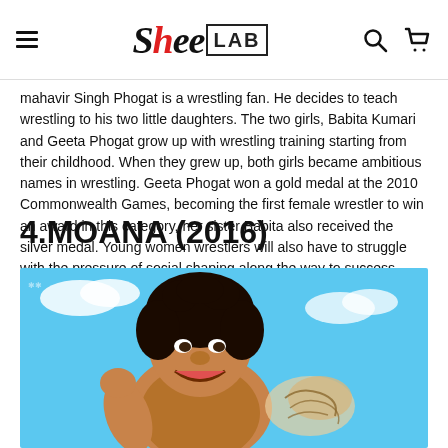SheeLAB navigation header with hamburger menu, ShreeLAB logo, search and cart icons
Mahavir Singh Phogat is a wrestling fan. He decides to teach wrestling to his two little daughters. The two girls, Babita Kumari and Geeta Phogat grow up with wrestling training starting from their childhood. When they grew up, both girls became ambitious names in wrestling. Geeta Phogat won a gold medal at the 2010 Commonwealth Games, becoming the first female wrestler to win an award in this category, her sister Babita also received the silver medal. Young women wrestlers will also have to struggle with the pressure of social shaping along the way to success.
4.MOANA (2016)
[Figure (photo): Movie still from Moana (2016) showing animated character Maui with large muscular figure, curly dark hair, grinning expression, with blue sky background]